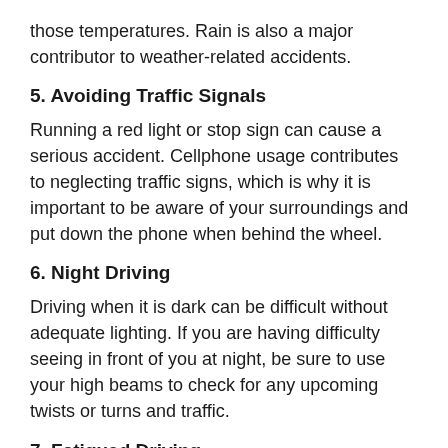those temperatures. Rain is also a major contributor to weather-related accidents.
5. Avoiding Traffic Signals
Running a red light or stop sign can cause a serious accident. Cellphone usage contributes to neglecting traffic signs, which is why it is important to be aware of your surroundings and put down the phone when behind the wheel.
6. Night Driving
Driving when it is dark can be difficult without adequate lighting. If you are having difficulty seeing in front of you at night, be sure to use your high beams to check for any upcoming twists or turns and traffic.
7. Fatigued Driving
A lot of us work hard for countless hours at a time,